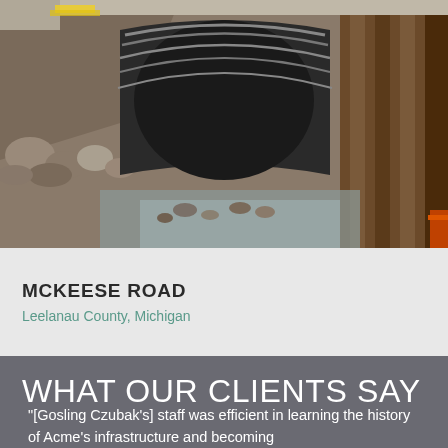[Figure (photo): Construction site photograph showing a large corrugated metal culvert tunnel with water flowing through it, surrounded by rocks and earthen embankment. Construction equipment and wooden shoring visible.]
MCKEESE ROAD
Leelanau County, Michigan
WHAT OUR CLIENTS SAY
"[Gosling Czubak's] staff was efficient in learning the history of Acme's infrastructure and becoming